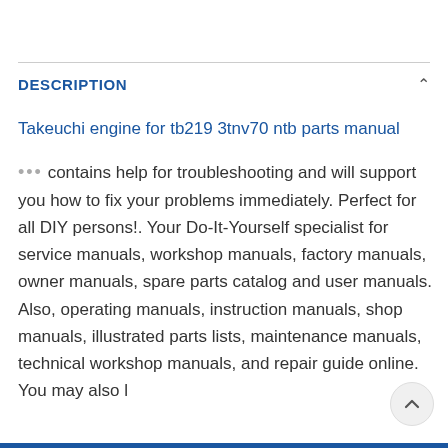DESCRIPTION
Takeuchi engine for tb219 3tnv70 ntb parts manual
... contains help for troubleshooting and will support you how to fix your problems immediately. Perfect for all DIY persons!. Your Do-It-Yourself specialist for service manuals, workshop manuals, factory manuals, owner manuals, spare parts catalog and user manuals. Also, operating manuals, instruction manuals, shop manuals, illustrated parts lists, maintenance manuals, technical workshop manuals, and repair guide online. You may also l